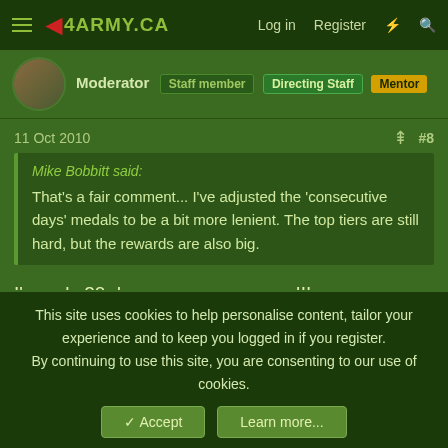4ARMY.CA  Log in  Register
Moderator  Staff member  Directing Staff  Mentor
11 Oct 2010  #8
Mike Bobbitt said: That's a fair comment... I've adjusted the 'consecutive days' medals to be a bit more lenient. The top tiers are still hard, but the rewards are also big.
I'm only 20 days away now, wooo!!!
armyvern  Army.ca Myth  Mentor
This site uses cookies to help personalise content, tailor your experience and to keep you logged in if you register.
By continuing to use this site, you are consenting to our use of cookies.